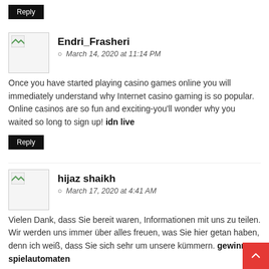Reply
Endri_Frasheri
March 14, 2020 at 11:14 PM
Once you have started playing casino games online you will immediately understand why Internet casino gaming is so popular. Online casinos are so fun and exciting-you'll wonder why you waited so long to sign up! idn live
Reply
hijaz shaikh
March 17, 2020 at 4:41 AM
Vielen Dank, dass Sie bereit waren, Informationen mit uns zu teilen. Wir werden uns immer über alles freuen, was Sie hier getan haben, denn ich weiß, dass Sie sich sehr um unsere kümmern. gewinn spielautomaten
Reply
silent.john
March 18, 2020 at 1:42 AM